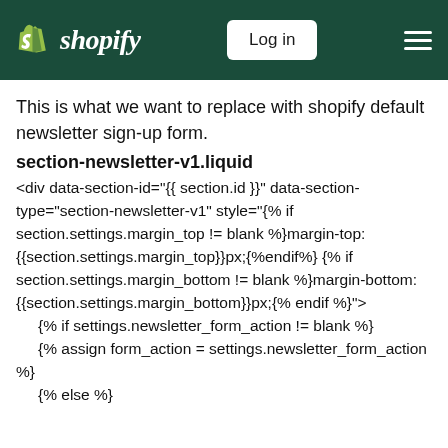Shopify — Log in
This is what we want to replace with shopify default newsletter sign-up form.
section-newsletter-v1.liquid
<div data-section-id="{{ section.id }}" data-section-type="section-newsletter-v1" style="{% if section.settings.margin_top != blank %}margin-top: {{section.settings.margin_top}}px;{%endif%} {% if section.settings.margin_bottom != blank %}margin-bottom: {{section.settings.margin_bottom}}px;{% endif %}">
{% if settings.newsletter_form_action != blank %}
  {% assign form_action = settings.newsletter_form_action %}
  {% else %}